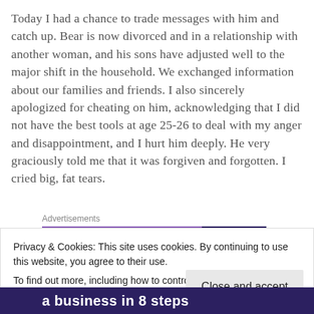Today I had a chance to trade messages with him and catch up. Bear is now divorced and in a relationship with another woman, and his sons have adjusted well to the major shift in the household. We exchanged information about our families and friends. I also sincerely apologized for cheating on him, acknowledging that I did not have the best tools at age 25-26 to deal with my anger and disappointment, and I hurt him deeply. He very graciously told me that it was forgiven and forgotten. I cried big, fat tears.
[Figure (other): Advertisement banner with purple and dark navy horizontal bar segments, labeled 'Advertisements']
Privacy & Cookies: This site uses cookies. By continuing to use this website, you agree to their use.
To find out more, including how to control cookies, see here: Cookie Policy
Close and accept
[Figure (other): Bottom advertisement banner with dark navy background and text 'a business in 8 steps' in white and cyan]